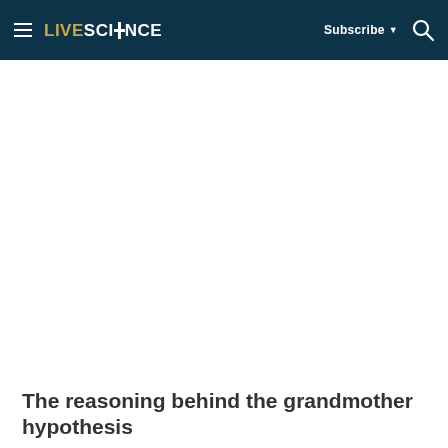LIVESCIENCE | Subscribe | Search
[Figure (other): Large white image/advertisement area below the navigation header]
The reasoning behind the grandmother hypothesis